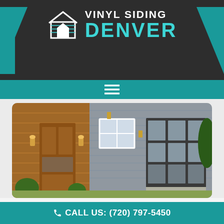[Figure (logo): Vinyl Siding Denver logo with teal house icon, white 'VINYL SIDING' text and teal 'DENVER' text on dark background]
[Figure (photo): Exterior photo of a modern home with wood-paneled entry, gray vinyl siding, large garage door with glass panels, and landscaping]
Choosing Experienced Denver Siding Contractors
CALL US: (720) 797-5450